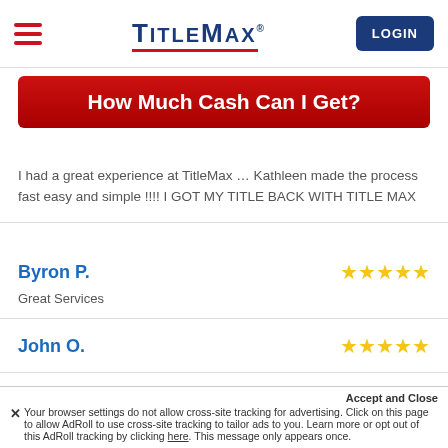TitleMax - LOGIN
How Much Cash Can I Get?
I had a great experience at TitleMax … Kathleen made the process fast easy and simple !!!! I GOT MY TITLE BACK WITH TITLE MAX
Byron P. ★★★★★
Great Services
John O. ★★★★★
Pretti Blacc M. ★★★★★
Came into title max and had a wonderful exper...
Accept and Close
× Your browser settings do not allow cross-site tracking for advertising. Click on this page to allow AdRoll to use cross-site tracking to tailor ads to you. Learn more or opt out of this AdRoll tracking by clicking here. This message only appears once.